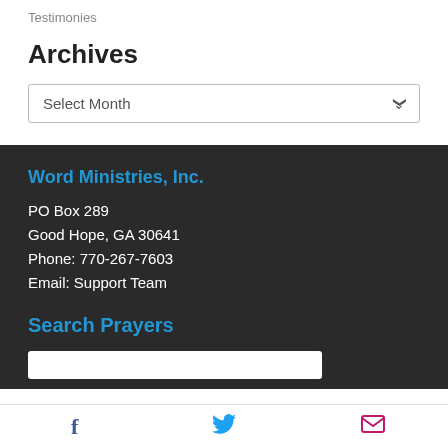Testimonies
Archives
Select Month
Word Ministries, Inc.
PO Box 289
Good Hope, GA 30641
Phone: 770-267-7603
Email: Support Team
Search Prayers
Facebook | Twitter | Email